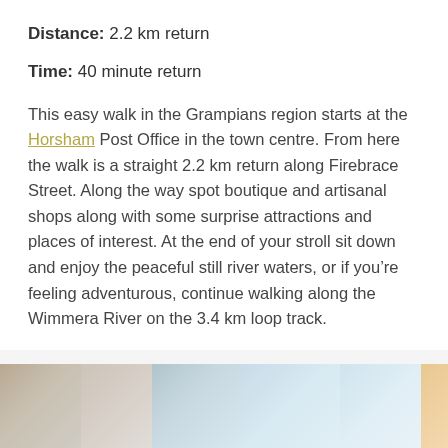Distance: 2.2 km return
Time: 40 minute return
This easy walk in the Grampians region starts at the Horsham Post Office in the town centre. From here the walk is a straight 2.2 km return along Firebrace Street. Along the way spot boutique and artisanal shops along with some surprise attractions and places of interest. At the end of your stroll sit down and enjoy the peaceful still river waters, or if you’re feeling adventurous, continue walking along the Wimmera River on the 3.4 km loop track.
[Figure (photo): Partial view of a riverside or outdoor scene, pixelated/blurred, showing muted tones of beige, grey, and light blue sky, with a small orange/tan element at right edge.]